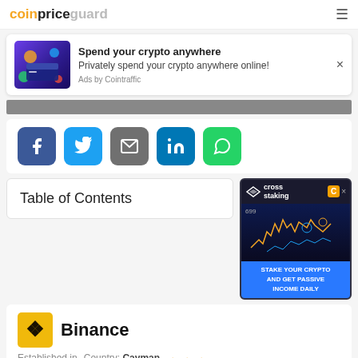coinpriceguard
[Figure (screenshot): Advertisement banner: crypto card image, text 'Spend your crypto anywhere' / 'Privately spend your crypto anywhere online!' / 'Ads by Cointraffic']
[Figure (screenshot): Gray horizontal bar]
[Figure (screenshot): Social share buttons row: Facebook, Twitter, Email, LinkedIn, WhatsApp]
Table of Contents
[Figure (screenshot): Cross staking advertisement: 'STAKE YOUR CRYPTO AND GET PASSIVE INCOME DAILY']
[Figure (logo): Binance logo - yellow square with diamond pattern]
Binance
Established in 2017  Country: Cayman Islands  ★★★
Binance is a trading platform exclusively